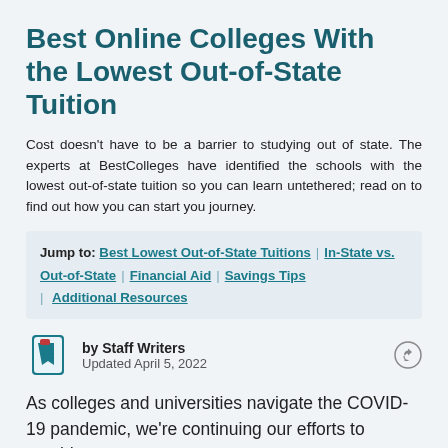Best Online Colleges With the Lowest Out-of-State Tuition
Cost doesn't have to be a barrier to studying out of state. The experts at BestColleges have identified the schools with the lowest out-of-state tuition so you can learn untethered; read on to find out how you can start you journey.
Jump to: Best Lowest Out-of-State Tuitions | In-State vs. Out-of-State | Financial Aid | Savings Tips | Additional Resources
by Staff Writers
Updated April 5, 2022
As colleges and universities navigate the COVID-19 pandemic, we're continuing our efforts to provide